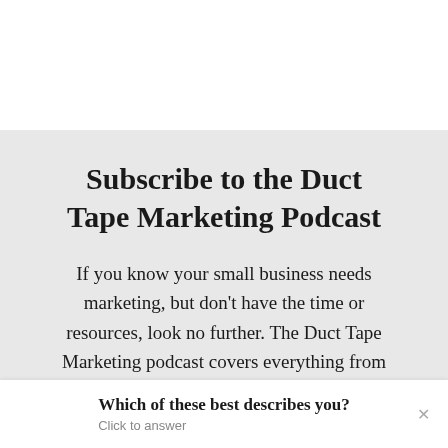Subscribe to the Duct Tape Marketing Podcast
If you know your small business needs marketing, but don't have the time or resources, look no further. The Duct Tape Marketing podcast covers everything from earning referrals to maximizing time and being…
Which of these best describes you? Click to answer